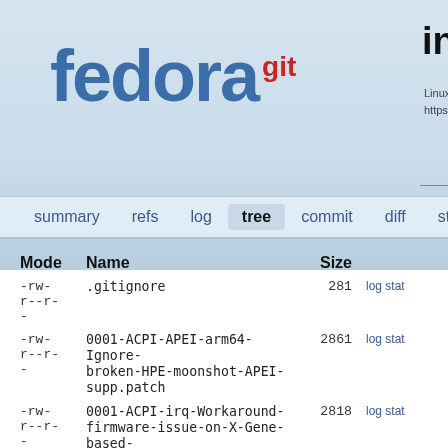[Figure (logo): Fedora git logo with 'fedora' in blue bold text and 'git' in red superscript]
index : ke
Linux vanilla kernels
https://fedoraproject.
summary  refs  log  tree  commit  diff  stats
| Mode | Name | Size |  |
| --- | --- | --- | --- |
| -rw-
r--r-
- | .gitignore | 281 | log stat |
| -rw-
r--r-
- | 0001-ACPI-APEI-arm64-Ignore-broken-HPE-moonshot-APEI-supp.patch | 2861 | log stat |
| -rw-
r--r-
- | 0001-ACPI-irq-Workaround-firmware-issue-on-X-Gene-based-m.patch | 2818 | log stat |
| -rw-
r--r-
- | 0001-ARM-fix-__get_user_check-in-case-uaccess_-calls-are-.patch | 3351 | log stat |